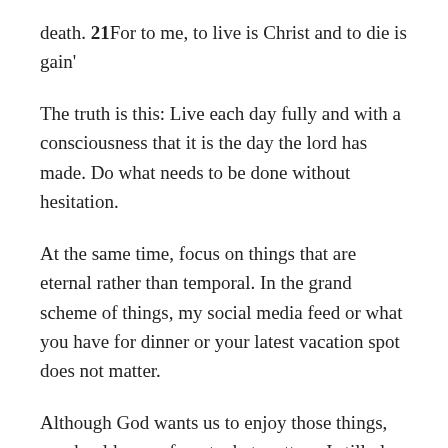death. 21For to me, to live is Christ and to die is gain'
The truth is this: Live each day fully and with a consciousness that it is the day the lord has made. Do what needs to be done without hesitation.
At the same time, focus on things that are eternal rather than temporal. In the grand scheme of things, my social media feed or what you have for dinner or your latest vacation spot does not matter.
Although God wants us to enjoy those things, we should never forget what matters. I still plan to share my wedding video on my 1 year anniversary lol because I am confident that He will keep me in abundant life. But, I would be arrogant not to